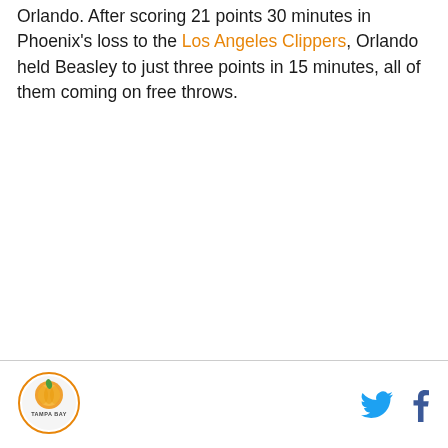Orlando. After scoring 21 points 30 minutes in Phoenix's loss to the Los Angeles Clippers, Orlando held Beasley to just three points in 15 minutes, all of them coming on free throws.
Tampa Bay logo | Twitter icon | Facebook icon